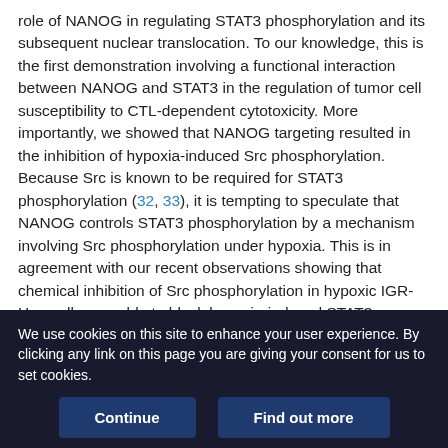role of NANOG in regulating STAT3 phosphorylation and its subsequent nuclear translocation. To our knowledge, this is the first demonstration involving a functional interaction between NANOG and STAT3 in the regulation of tumor cell susceptibility to CTL-dependent cytotoxicity. More importantly, we showed that NANOG targeting resulted in the inhibition of hypoxia-induced Src phosphorylation. Because Src is known to be required for STAT3 phosphorylation (32, 33), it is tempting to speculate that NANOG controls STAT3 phosphorylation by a mechanism involving Src phosphorylation under hypoxia. This is in agreement with our recent observations showing that chemical inhibition of Src phosphorylation in hypoxic IGR-Heu cells was able to block hypoxia-induced STAT3 phosphorylation (45).
We use cookies on this site to enhance your user experience. By clicking any link on this page you are giving your consent for us to set cookies.